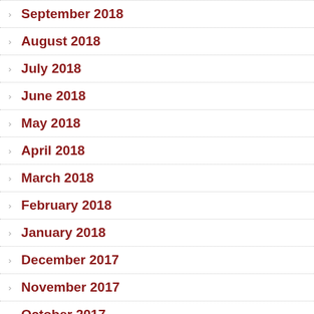September 2018
August 2018
July 2018
June 2018
May 2018
April 2018
March 2018
February 2018
January 2018
December 2017
November 2017
October 2017
September 2017
August 2017
July 2017
June 2017